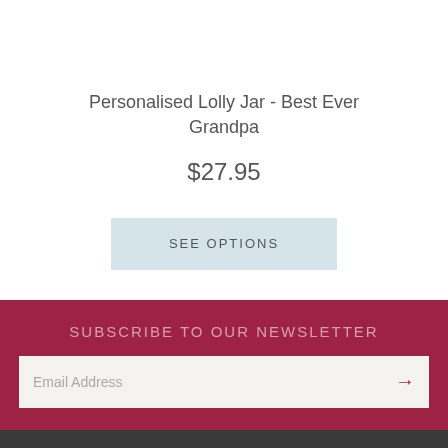Personalised Lolly Jar - Best Ever Grandpa
$27.95
SEE OPTIONS
SUBSCRIBE TO OUR NEWSLETTER
Email Address